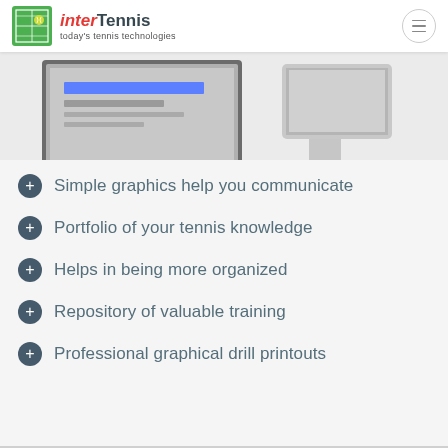interTennis today's tennis technologies
[Figure (screenshot): Laptop and monitor showing interTennis software interface on a light grey background]
Simple graphics help you communicate
Portfolio of your tennis knowledge
Helps in being more organized
Repository of valuable training
Professional graphical drill printouts